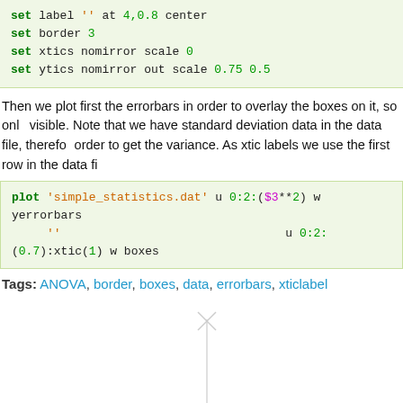set label '' at 4,0.8 center
set border 3
set xtics nomirror scale 0
set ytics nomirror out scale 0.75 0.5
Then we plot first the errorbars in order to overlay the boxes on it, so only the top of the errorbars is visible. Note that we have standard deviation data in the data file, therefore we square it in order to get the variance. As xtic labels we use the first row in the data file.
plot 'simple_statistics.dat' u 0:2:($3**2) w yerrorbars
     ''                        u 0:2:(0.7):xtic(1) w boxes
Tags: ANOVA, border, boxes, data, errorbars, xticlabel
[Figure (other): Partial view of a gnuplot chart showing errorbars with x marks at the top and a dense waveform/noise pattern at the bottom, rendered in light gray.]